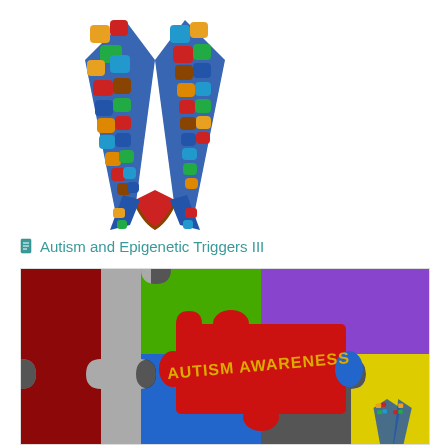[Figure (illustration): Colorful autism awareness ribbon made of puzzle pieces in red, blue, yellow, orange, green, dark blue colors, shaped like a awareness ribbon folded at the bottom]
Autism and Epigenetic Triggers III
[Figure (photo): Colorful puzzle pieces in red, green, purple, blue, black, grey, yellow colors arranged together with a central red piece labeled AUTISM AWARENESS in gold text, and a small autism awareness puzzle ribbon in the bottom right corner]